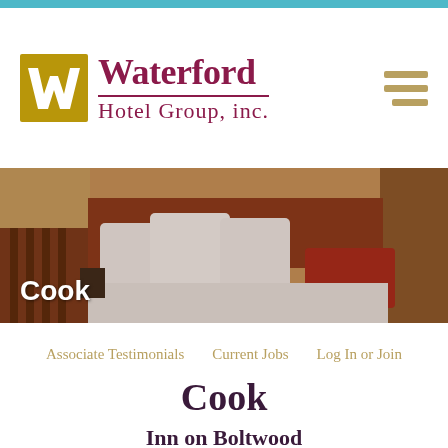[Figure (logo): Waterford Hotel Group, Inc. logo with golden W icon and maroon text]
[Figure (photo): Hotel room with white pillows, red accent pillow, warm wood headboard. 'Cook' text overlay in white.]
Associate Testimonials   Current Jobs   Log In or Join
Cook
Inn on Boltwood